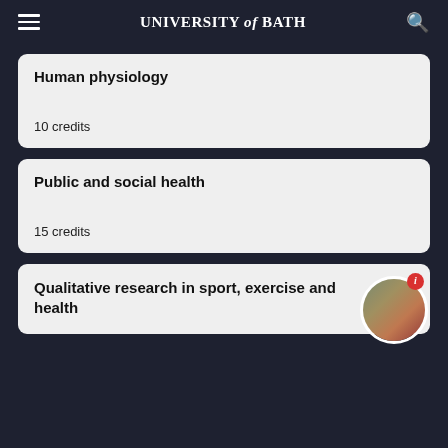UNIVERSITY of BATH
Human physiology
10 credits
Public and social health
15 credits
Qualitative research in sport, exercise and health